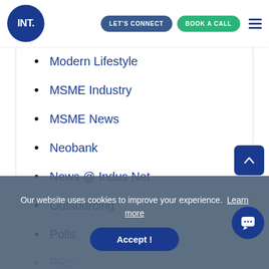[Figure (logo): INT. logo in white text on dark blue circle]
Modern Lifestyle
MSME Industry
MSME News
Neobank
News @ Indus Net
Outsourcing
Polls
PPC
Remote...
Our website uses cookies to improve your experience. Learn more
Accept !